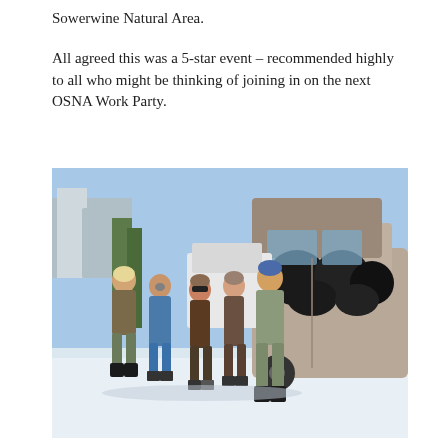Sowerwine Natural Area.
All agreed this was a 5-star event – recommended highly to all who might be thinking of joining in on the next OSNA Work Party.
[Figure (photo): Group of five people standing outdoors in winter clothing next to a car with an open trunk filled with black garbage bags, snow on the ground, blue sky in background.]